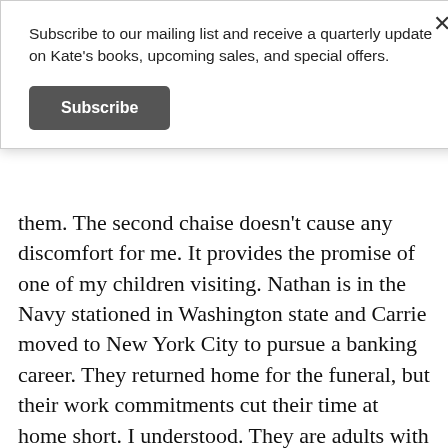Subscribe to our mailing list and receive a quarterly update on Kate's books, upcoming sales, and special offers.
Subscribe
them. The second chaise doesn't cause any discomfort for me. It provides the promise of one of my children visiting. Nathan is in the Navy stationed in Washington state and Carrie moved to New York City to pursue a banking career. They returned home for the funeral, but their work commitments cut their time at home short. I understood. They are adults with their own lives.
Within the toasty security of my kitchen, I look through the help wanted ads in the local paper. Housekeeper. No thanks. I don't like cleaning my